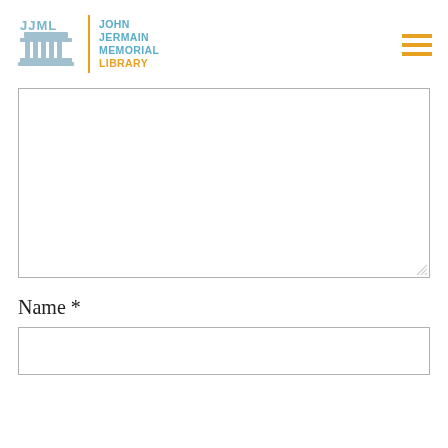[Figure (logo): John Jermain Memorial Library logo with JJML text and building icon, alongside orange/gold menu hamburger icon]
[Figure (other): Large empty textarea form field with resize handle]
Name *
[Figure (other): Empty text input field for Name]